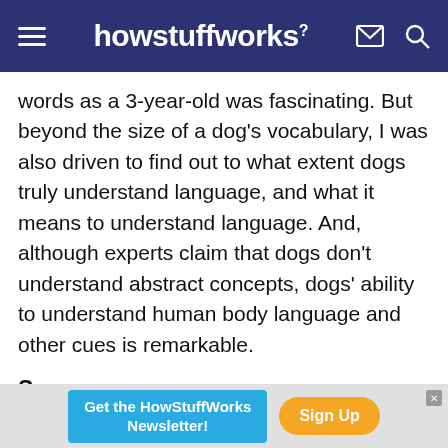howstuffworks
words as a 3-year-old was fascinating. But beyond the size of a dog's vocabulary, I was also driven to find out to what extent dogs truly understand language, and what it means to understand language. And, although experts claim that dogs don't understand abstract concepts, dogs' ability to understand human body language and other cues is remarkable.
Sources
Coren, Stanley. "The Intelligence of Dogs: A